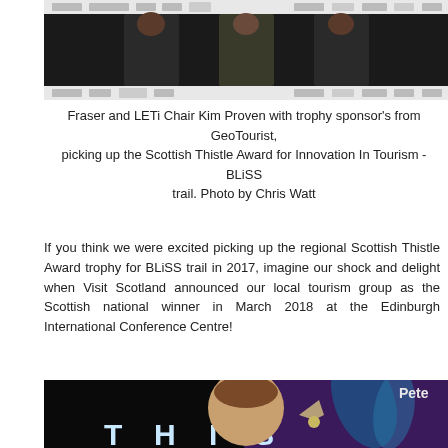[Figure (photo): Three people standing in formal attire in front of a sponsor backdrop with logos including Maxxium and other brands.]
Fraser and LETi Chair Kim Proven with trophy sponsor's from GeoTourist, picking up the Scottish Thistle Award for Innovation In Tourism - BLiSS trail. Photo by Chris Watt
If you think we were excited picking up the regional Scottish Thistle Award trophy for BLiSS trail in 2017, imagine our shock and delight when Visit Scotland announced our local tourism group as the Scottish national winner in March 2018 at the Edinburgh International Conference Centre!
[Figure (photo): Woman at award ceremony holding a trophy in front of illuminated letters at what appears to be the Scottish Thistle Awards, with purple stage lighting in the background.]